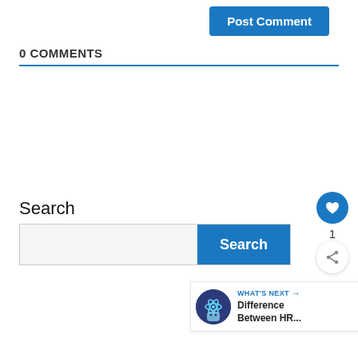Post Comment
0 COMMENTS
Search
[Figure (screenshot): Search bar with text input field and blue Search button]
[Figure (other): Blue circular like/heart button with count 1 and share button below]
WHAT'S NEXT → Difference Between HR...